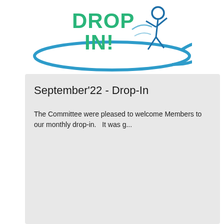[Figure (logo): Drop-In logo with green text 'DROP IN!' and a blue figure walking, with a blue swooping ellipse/road shape beneath]
September'22 - Drop-In
The Committee were pleased to welcome Members to our monthly drop-in.   It was g...